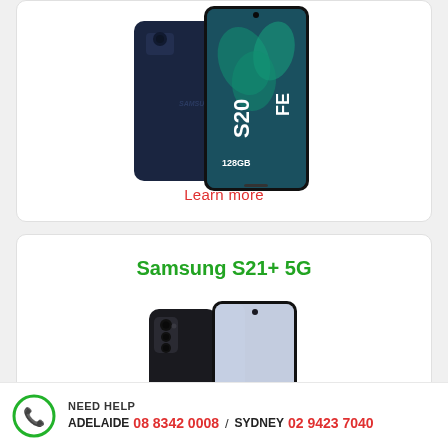[Figure (photo): Samsung Galaxy S20 FE 128GB smartphone shown from the back and front, in dark navy blue color, displayed upright. The screen shows 'S20 FE' and '128GB' branding.]
Learn more
Samsung S21+ 5G
[Figure (photo): Samsung Galaxy S21+ 5G smartphone shown from the front and back, in phantom black color, displayed upright.]
NEED HELP ADELAIDE 08 8342 0008 / SYDNEY 02 9423 7040